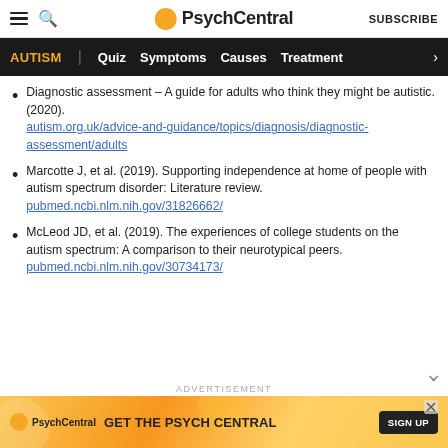PsychCentral | SUBSCRIBE
AUTISM | Quiz  Symptoms  Causes  Treatment  >
Diagnostic assessment – A guide for adults who think they might be autistic. (2020). autism.org.uk/advice-and-guidance/topics/diagnosis/diagnostic-assessment/adults
Marcotte J, et al. (2019). Supporting independence at home of people with autism spectrum disorder: Literature review. pubmed.ncbi.nlm.nih.gov/31826662/
McLeod JD, et al. (2019). The experiences of college students on the autism spectrum: A comparison to their neurotypical peers. pubmed.ncbi.nlm.nih.gov/30734173/
[Figure (screenshot): PsychCentral advertisement banner: GET THE PSYCH CENTRAL with SIGN UP button on gradient orange background]